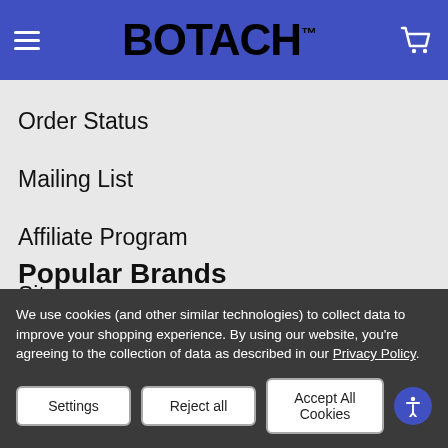BOTACH™
Order Status
Mailing List
Affiliate Program
Sitemap
Popular Brands
We use cookies (and other similar technologies) to collect data to improve your shopping experience. By using our website, you're agreeing to the collection of data as described in our Privacy Policy.
Settings | Reject all | Accept All Cookies